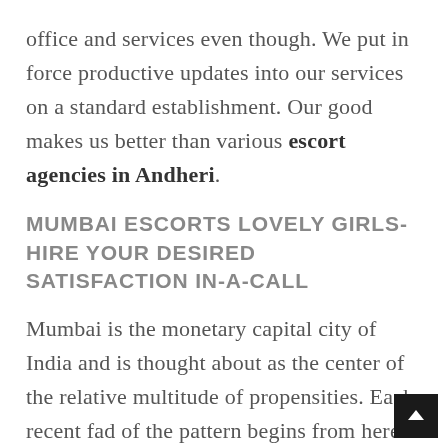office and services even though. We put in force productive updates into our services on a standard establishment. Our good makes us better than various escort agencies in Andheri.
MUMBAI ESCORTS LOVELY GIRLS-HIRE YOUR DESIRED SATISFACTION IN-A-CALL
Mumbai is the monetary capital city of India and is thought about as the center of the relative multitude of propensities. Each recent fad of the pattern begins from here. Advertise select this district to live more